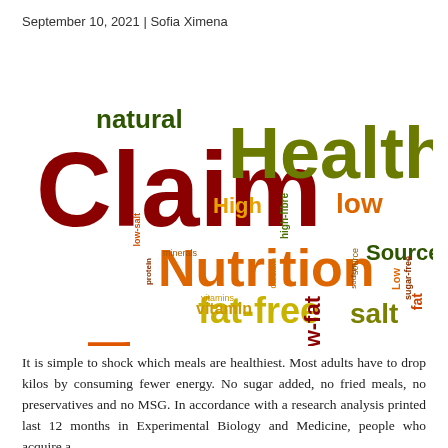September 10, 2021 | Sofia Ximena
[Figure (infographic): Word cloud with nutrition and food health claim terms. Large words: Claim (dark red), Health (olive green), Nutrition (orange), Food (orange vertical). Medium words: natural (dark green), fat-free (yellow-green), salt (olive), low (orange), Low-fat (dark red vertical), Source (dark green). Small words: High, high-fibre, low-salt, protein, minerals, calcium, vitamins, vitamin, sugar-free, sodium, fat, Low.]
It is simple to shock which meals are healthiest. Most adults have to drop kilos by consuming fewer energy. No sugar added, no fried meals, no preservatives and no MSG. In accordance with a research analysis printed last 12 months in Experimental Biology and Medicine, people who acquire a